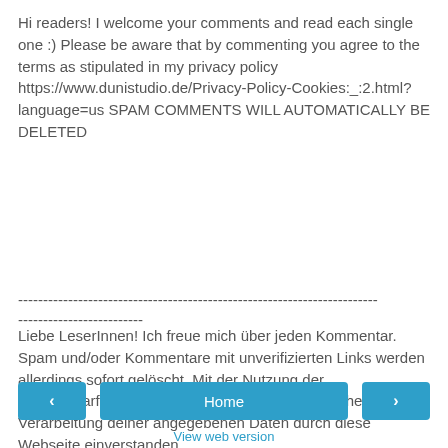Hi readers! I welcome your comments and read each single one :) Please be aware that by commenting you agree to the terms as stipulated in my privacy policy https://www.dunistudio.de/Privacy-Policy-Cookies:_:2.html?language=us SPAM COMMENTS WILL AUTOMATICALLY BE DELETED
------------------------------------------------------------------------
-------------------------
Liebe LeserInnen! Ich freue mich über jeden Kommentar. Spam und/oder Kommentare mit unverifizierten Links werden allerdings sofort gelöscht. Mit der Nutzung der Kommentarfunktion erklärst du dich mit der Speicherung und Verarbeitung deiner angegebenen Daten durch diese Webseite einverstanden.
< Home > View web version